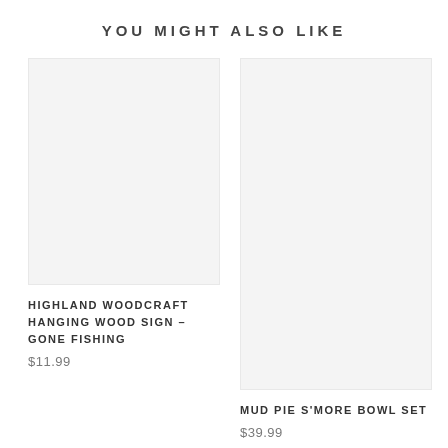YOU MIGHT ALSO LIKE
[Figure (photo): Product image placeholder for Highland Woodcraft Hanging Wood Sign - Gone Fishing]
HIGHLAND WOODCRAFT HANGING WOOD SIGN – GONE FISHING
$11.99
[Figure (photo): Product image placeholder for Mud Pie S'More Bowl Set]
MUD PIE S'MORE BOWL SET
$39.99